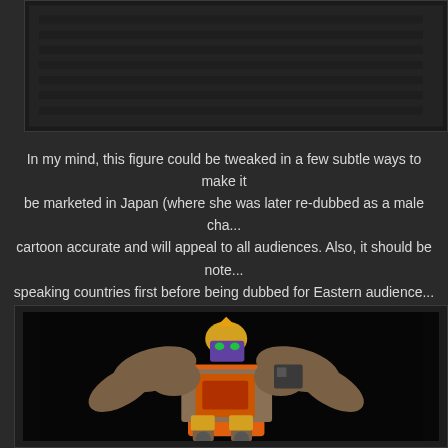[Figure (photo): Partial view of a dark background image at the top of the page, partially cropped]
In my mind, this figure could be tweaked in a few subtle ways to make it be marketed in Japan (where she was later re-dubbed as a male character) cartoon accurate and will appeal to all audiences. Also, it should be noted speaking countries first before being dubbed for Eastern audiences.
[Figure (photo): A Transformers toy figure with orange and brown bird-like design, featuring a yellow head with green eyes and purple face, large brown wings, and orange/red body with mechanical legs, photographed against a black background.]